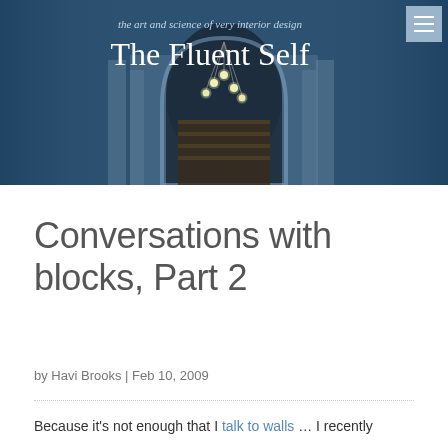the art and science of very interior design
The Fluent Self
[Figure (photo): Dark blue banner with ornate Moorish arch doorway with hanging pendant lights, bookshelves visible through the opening, flanked by columns]
Conversations with blocks, Part 2
by Havi Brooks | Feb 10, 2009
Because it's not enough that I talk to walls … I recently